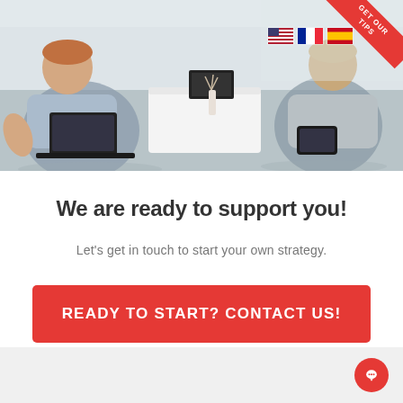[Figure (photo): Two businessmen in an office setting, one with a laptop, one with a tablet, seated across a white coffee table. A red corner banner with 'TIPS' text and country flags (US, France, Spain) are visible in the top right corner.]
We are ready to support you!
Let's get in touch to start your own strategy.
READY TO START? CONTACT US!